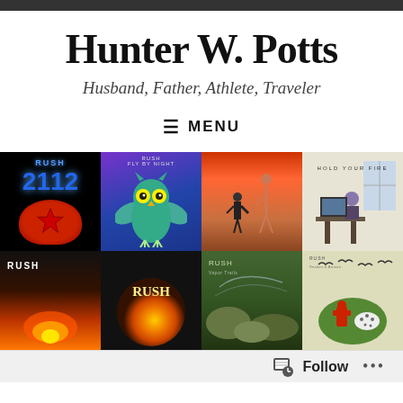Hunter W. Potts
Husband, Father, Athlete, Traveler
≡ MENU
[Figure (photo): Grid of 8 Rush album covers arranged in 2 rows of 4: Rush 2112, Fly by Night, Hemispheres, Hold Your Fire (top row); Counterparts, Roll the Bones, Vapor Trails, Snakes & Arrows (bottom row)]
Follow ...